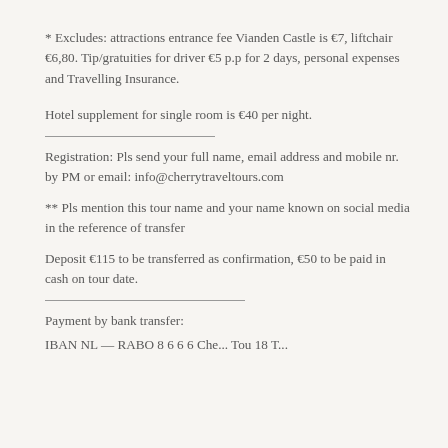* Excludes: attractions entrance fee Vianden Castle is €7, liftchair €6,80. Tip/gratuities for driver €5 p.p for 2 days, personal expenses and Travelling Insurance.
Hotel supplement for single room is €40 per night.
Registration: Pls send your full name, email address and mobile nr. by PM or email: info@cherrytraveltours.com
** Pls mention this tour name and your name known on social media in the reference of transfer
Deposit €115 to be transferred as confirmation, €50 to be paid in cash on tour date.
Payment by bank transfer:
IBAN NL — RABO 8 6 6 6 Che... Tou 18 T...